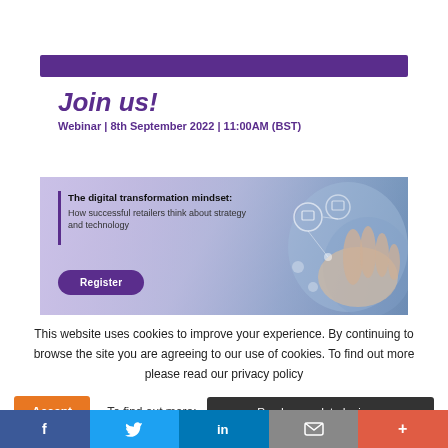[Figure (screenshot): Webinar promotional banner with purple header bar, 'Join us!' heading, date 'Webinar | 8th September 2022 | 11:00AM (BST)', description text about digital transformation mindset, and a Register button. Background shows hand with digital tech icons.]
This website uses cookies to improve your experience. By continuing to browse the site you are agreeing to our use of cookies. To find out more please read our privacy policy
Accept - To find out more: Read our updated privacy
[Figure (infographic): Social media sharing footer bar with Facebook, Twitter, LinkedIn, Email, and More buttons in respective brand colors.]